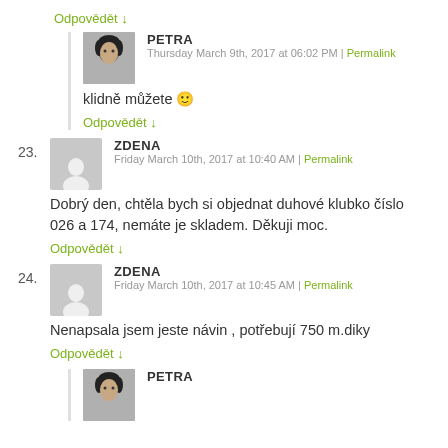Odpovědět ↓
PETRA
Thursday March 9th, 2017 at 06:02 PM | Permalink
klidně můžete 🙂
Odpovědět ↓
23. ZDENA
Friday March 10th, 2017 at 10:40 AM | Permalink
Dobrý den, chtěla bych si objednat duhové klubko číslo 026 a 174, nemáte je skladem. Děkuji moc.
Odpovědět ↓
24. ZDENA
Friday March 10th, 2017 at 10:45 AM | Permalink
Nenapsala jsem jeste návin , potřebují 750 m.diky
Odpovědět ↓
PETRA